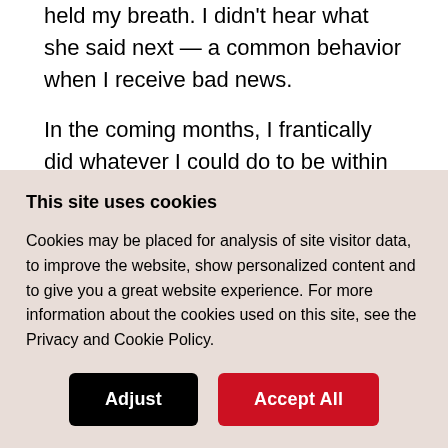held my breath. I didn't hear what she said next — a common behavior when I receive bad news.
In the coming months, I frantically did whatever I could do to be within that 30 percent window. The problem was, it was exhausting!
This site uses cookies
Cookies may be placed for analysis of site visitor data, to improve the website, show personalized content and to give you a great website experience. For more information about the cookies used on this site, see the Privacy and Cookie Policy.